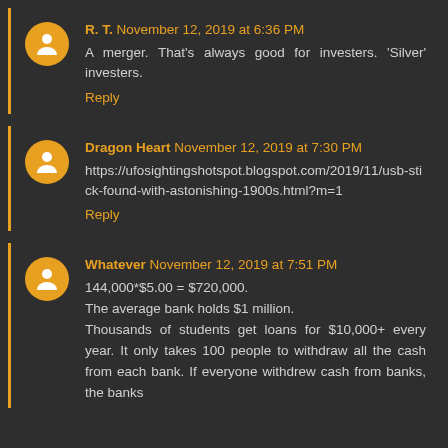R. T. November 12, 2019 at 6:36 PM
A merger. That's always good for investers. 'Silver' investers.
Reply
Dragon Heart November 12, 2019 at 7:30 PM
https://ufosightingshotspot.blogspot.com/2019/11/usb-stick-found-with-astonishing-1900s.html?m=1
Reply
Whatever November 12, 2019 at 7:51 PM
144,000*$5.00 = $720,000.
The average bank holds $1 million.
Thousands of students get loans for $10,000+ every year. It only takes 100 people to withdraw all the cash from each bank. If everyone withdrew cash from banks, the banks